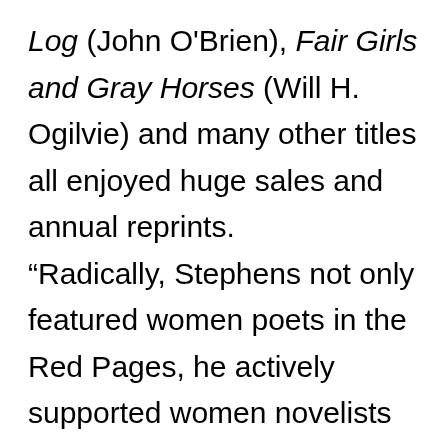Log (John O'Brien), Fair Girls and Gray Horses (Will H. Ogilvie) and many other titles all enjoyed huge sales and annual reprints. “Radically, Stephens not only featured women poets in the Red Pages, he actively supported women novelists